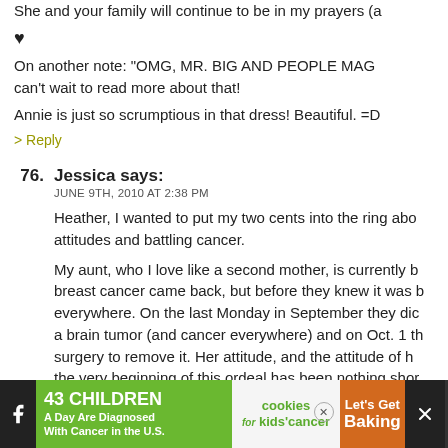She and your family will continue to be in my prayers (a
♥
On another note: "OMG, MR. BIG AND PEOPLE MAG can't wait to read more about that!
Annie is just so scrumptious in that dress! Beautiful. =D
> Reply
76. Jessica says: JUNE 9TH, 2010 AT 2:38 PM
Heather, I wanted to put my two cents into the ring abo attitudes and battling cancer.
My aunt, who I love like a second mother, is currently b breast cancer came back, but before they knew it was b everywhere. On the last Monday in September they dic a brain tumor (and cancer everywhere) and on Oct. 1 th surgery to remove it. Her attitude, and the attitude of h the very beginning of this ordeal has been nothing shor
[Figure (other): Advertisement banner: 43 CHILDREN A Day Are Diagnosed With Cancer in the U.S. - cookies for kids cancer - Let's Get Baking]